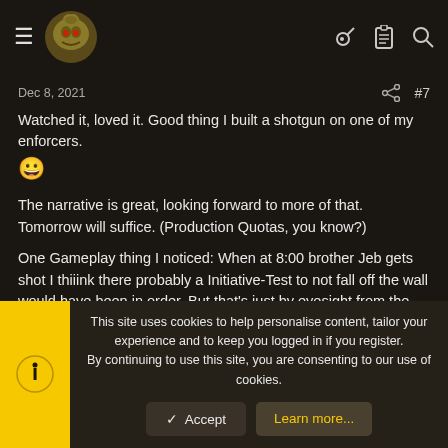Navigation header with hamburger menu, logo, key icon, clipboard icon, and search icon
Dec 8, 2021   #7
Watched it, loved it. Good thing I built a shotgun on one of my enforcers. 😀

The narrative is great, looking forward to more of that. Tomorrow will suffice. (Production Quotas, you know?)

One Gameplay thing I noticed: When at 8:00 brother Jeb gets shot I thiiink there probably a Initiative-Test to not fall off the wall would have been in order. But that's just by eyesight from the video, might be mistaken.
This site uses cookies to help personalise content, tailor your experience and to keep you logged in if you register.
By continuing to use this site, you are consenting to our use of cookies.
✓ Accept
Learn more...